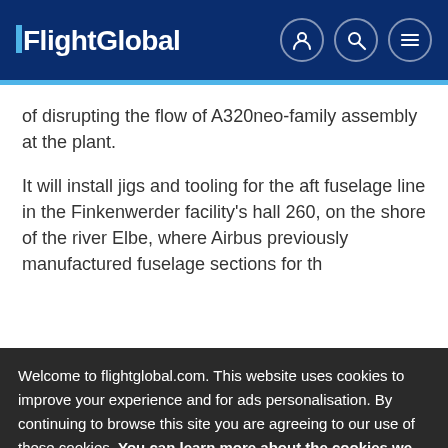FlightGlobal
of disrupting the flow of A320neo-family assembly at the plant.
It will install jigs and tooling for the aft fuselage line in the Finkenwerder facility's hall 260, on the shore of the river Elbe, where Airbus previously manufactured fuselage sections for th
Welcome to flightglobal.com. This website uses cookies to improve your experience and for ads personalisation. By continuing to browse this site you are agreeing to our use of these cookies. You can learn more about the cookies we use here.